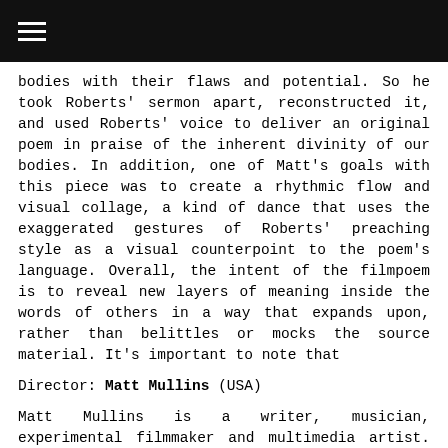☰
bodies with their flaws and potential. So he took Roberts' sermon apart, reconstructed it, and used Roberts' voice to deliver an original poem in praise of the inherent divinity of our bodies. In addition, one of Matt's goals with this piece was to create a rhythmic flow and visual collage, a kind of dance that uses the exaggerated gestures of Roberts' preaching style as a visual counterpoint to the poem's language. Overall, the intent of the filmpoem is to reveal new layers of meaning inside the words of others in a way that expands upon, rather than belittles or mocks the source material. It's important to note that
Director: Matt Mullins (USA)
Matt Mullins is a writer, musician, experimental filmmaker and multimedia artist. His filmpoems have been screened at conferences and film festivals in the U.S. and abroad. His fiction and poetry have appeared in a number of print and online literary journals including Mid American Review, Pleiades, Hunger Mountain, Descant, and Hobart. His debut collection of short stories, Three Ways of the Saw, was published by Atticus Books in 2012 and was named a finalist for Foreward Magazine's 2012 Book of the Year. Matt teaches creative writing at Ball State University where he is an Emerging Media Fellow at the Center for Media Design. You can engage his interactive/digital literary interfaces at lit-digital.com.